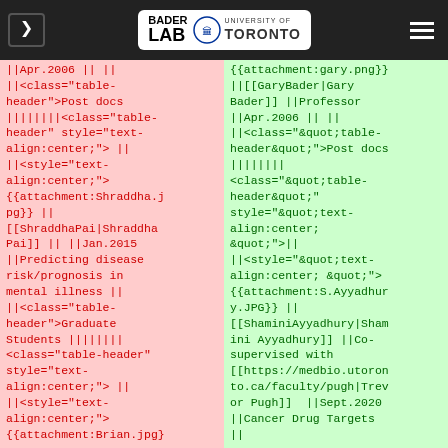Bader Lab | University of Toronto
||Apr.2006 || ||
||<class="table-header">Post docs
||||||||
<class="table-header" style="text-align:center;"> ||
||<style="text-align:center;">
{{attachment:Shraddha.jpg}} ||
[[ShraddhaPai|Shraddha Pai]] || ||Jan.2015
||Predicting disease risk/prognosis in mental illness ||
||<class="table-header">Graduate Students ||||||||
<class="table-header" style="text-align:center;"> ||
||<style="text-align:center;">
{{attachment:Brian.jpg}
{{attachment:gary.png}}
||[[GaryBader|Gary Bader]] ||Professor
||Apr.2006 || ||
||<class="&quot;table-header&quot;">Post docs
||||||||
<class="&quot;table-header&quot;"
style="&quot;text-align:center;
&quot;">||
||<style="&quot;text-align:center; &quot;">
{{attachment:S.Ayyadhury.JPG}} ||
[[ShaminiAyyadhury|Shamini Ayyadhury]] ||Co-supervised with
[[https://medbio.utoronto.ca/faculty/pugh|Trevor Pugh]]  ||Sept.2020
||Cancer Drug Targets ||